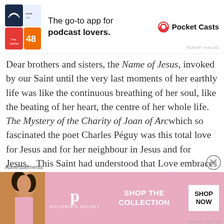[Figure (illustration): Pocket Casts podcast app advertisement banner with colorful app icon tiles and text 'The go-to app for podcast lovers.' with Pocket Casts logo]
Dear brothers and sisters, the Name of Jesus, invoked by our Saint until the very last moments of her earthly life was like the continuous breathing of her soul, like the beating of her heart, the centre of her whole life.   The Mystery of the Charity of Joan of Arc which so fascinated the poet Charles Péguy was this total love for Jesus and for her neighbour in Jesus and for Jesus.   This Saint had understood that Love embraces the whole of the reality of God and of the human being, of Heaven and of earth, of the Church and of the world.   Jesus
Advertisements
[Figure (illustration): Victoria's Secret advertisement banner with model photo on left, VS logo, 'SHOP THE COLLECTION' text, and 'SHOP NOW' button on pink background]